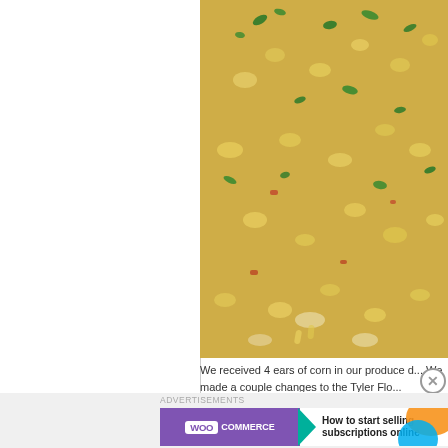[Figure (photo): Close-up photo of creamy corn dish with green herbs (parsley/thyme) sprinkled on top, with visible corn kernels, onions, and what appears to be bacon in a creamy sauce]
We received 4 ears of corn in our produce d... We made a couple changes to the Tyler Flo... BACON! Instead of using the butter we use... garlic and thyme. We also sprinkled in some... and half for the cream to make it nice and li...
[Figure (screenshot): WooCommerce advertisement banner: purple background with WooCommerce logo on left, teal arrow/triangle accent, text 'How to start selling subscriptions online' on right with orange and blue decorative blobs]